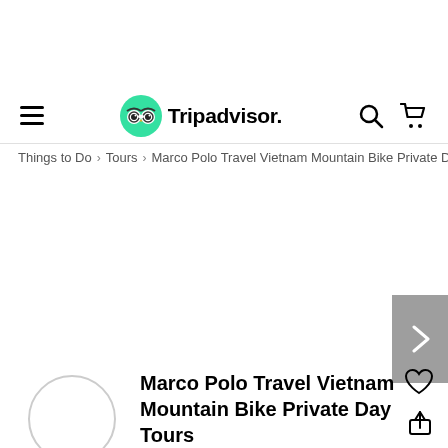Tripadvisor navigation header with hamburger menu, Tripadvisor logo, search icon, and cart icon
Things to Do > Tours > Marco Polo Travel Vietnam Mountain Bike Private Day
[Figure (screenshot): Blank white image area with a gray next/right arrow button on the right side]
[Figure (logo): Circular provider logo for Marco Polo Travel Vietnam]
Marco Polo Travel Vietnam Mountain Bike Private Day Tours